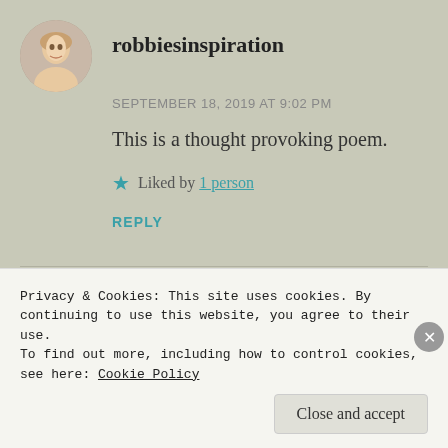robbiesinspiration
SEPTEMBER 18, 2019 AT 9:02 PM
This is a thought provoking poem.
★ Liked by 1 person
REPLY
Privacy & Cookies: This site uses cookies. By continuing to use this website, you agree to their use.
To find out more, including how to control cookies, see here: Cookie Policy
Close and accept